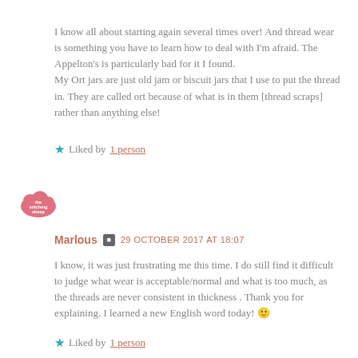I know all about starting again several times over! And thread wear is something you have to learn how to deal with I'm afraid. The Appelton's is particularly bad for it I found.
My Ort jars are just old jam or biscuit jars that I use to put the thread in. They are called ort because of what is in them [thread scraps] rather than anything else!
★ Liked by 1 person
[Figure (logo): The Stitching Sheep logo — pink cloud-shaped badge with text]
Marlous  29 OCTOBER 2017 AT 18:07
I know, it was just frustrating me this time. I do still find it difficult to judge what wear is acceptable/normal and what is too much, as the threads are never consistent in thickness . Thank you for explaining. I learned a new English word today! 🙂
★ Liked by 1 person